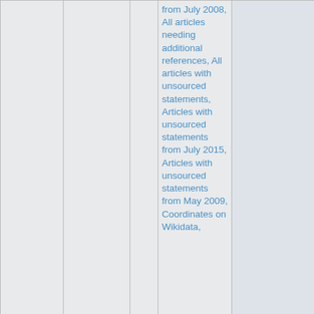|  |  |  | Categories/Tags | Photo |
| --- | --- | --- | --- | --- |
|  |  |  | from July 2008, All articles needing additional references, All articles with unsourced statements, Articles with unsourced statements from July 2015, Articles with unsourced statements from May 2009, Coordinates on Wikidata, |  |
| 86: ↘ 8.9mi [icons] | Blue Man Group Sharp Aquos Theatre | 🔗 | Amusement rides by name, Universal Studios Florida, Universal Parks & Resorts attractions by name, Universal | [photo of Blue Man Group Sharp Aquos Theatre sign] |